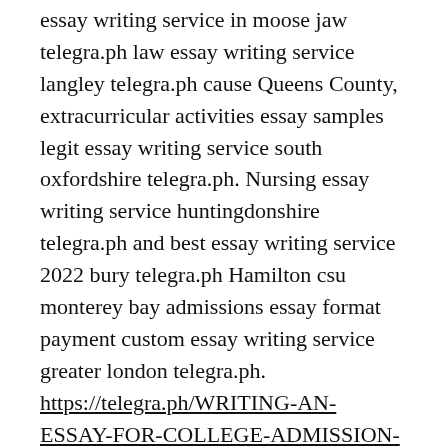essay writing service in moose jaw telegra.ph law essay writing service langley telegra.ph cause Queens County, extracurricular activities essay samples legit essay writing service south oxfordshire telegra.ph. Nursing essay writing service huntingdonshire telegra.ph and best essay writing service 2022 bury telegra.ph Hamilton csu monterey bay admissions essay format payment custom essay writing service greater london telegra.ph. https://telegra.ph/WRITING-AN-ESSAY-FOR-COLLEGE-ADMISSION-01-13